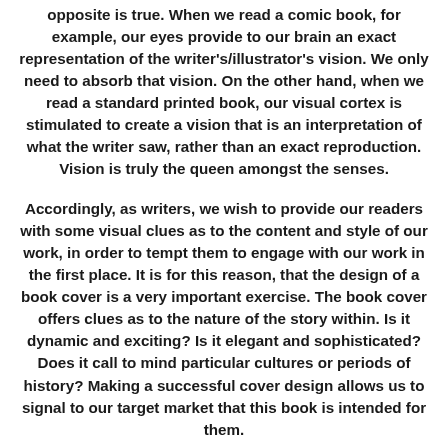opposite is true. When we read a comic book, for example, our eyes provide to our brain an exact representation of the writer's/illustrator's vision. We only need to absorb that vision. On the other hand, when we read a standard printed book, our visual cortex is stimulated to create a vision that is an interpretation of what the writer saw, rather than an exact reproduction. Vision is truly the queen amongst the senses.
Accordingly, as writers, we wish to provide our readers with some visual clues as to the content and style of our work, in order to tempt them to engage with our work in the first place. It is for this reason, that the design of a book cover is a very important exercise. The book cover offers clues as to the nature of the story within. Is it dynamic and exciting? Is it elegant and sophisticated? Does it call to mind particular cultures or periods of history? Making a successful cover design allows us to signal to our target market that this book is intended for them.